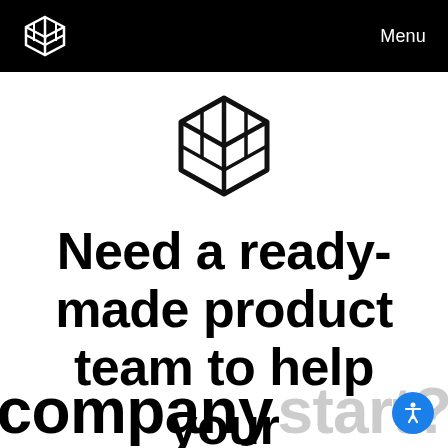Menu
[Figure (logo): 3D box/cube logo icon, large, centered, black outline on white background]
Need a ready-made product team to help your company start?